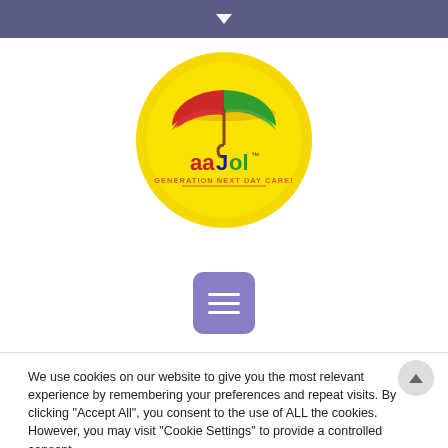Navigation bar with dropdown arrow
[Figure (logo): aaJol Generation Next Day Care logo - circular yellow background with colorful umbrella and brand name]
[Figure (other): Purple rounded square menu/hamburger button with three white horizontal lines]
We use cookies on our website to give you the most relevant experience by remembering your preferences and repeat visits. By clicking "Accept All", you consent to the use of ALL the cookies. However, you may visit "Cookie Settings" to provide a controlled consent.
Cookie Settings | Accept All